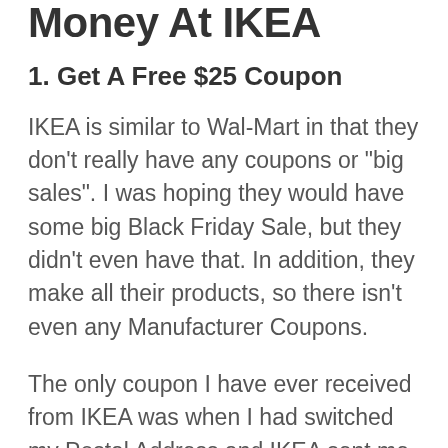Money At IKEA
1. Get A Free $25 Coupon
IKEA is similar to Wal-Mart in that they don’t really have any coupons or “big sales”.  I was hoping they would have some big Black Friday Sale, but they didn’t even have that. In addition, they make all their products, so there isn’t even any Manufacturer Coupons.
The only coupon I have ever received from IKEA was when I had switched my Postal Address and IKEA sent me a coupon.